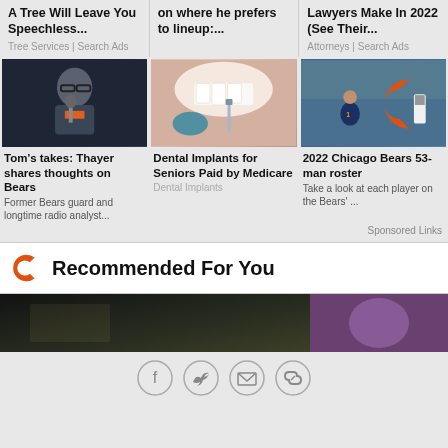A Tree Will Leave You Speechless...
Tree Services | Search Ads
on where he prefers to lineup:...
Lawyers Make In 2022 (See Their...
Attorneys | Search Ads
[Figure (photo): Man with glasses at a microphone, Chicago Bears related]
Tom's takes: Thayer shares thoughts on Bears
Former Bears guard and longtime radio analyst...
[Figure (photo): Close-up of dental implant procedure on teeth]
Dental Implants for Seniors Paid by Medicare
Dental Implants
[Figure (photo): Chicago Bears player running on football field]
2022 Chicago Bears 53-man roster
Take a look at each player on the Bears' ...
Sponsored Links
Recommended For You
[Figure (photo): Dark thumbnail image]
[Figure (photo): Purple/dark thumbnail image]